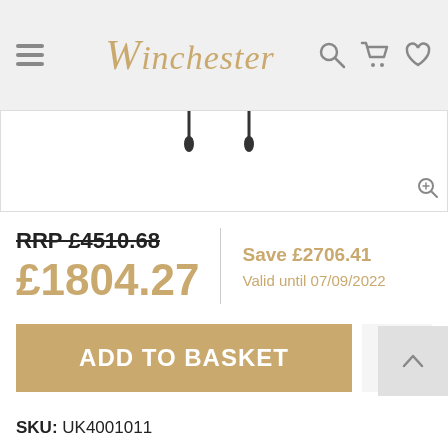Winchester
[Figure (photo): Partial product image showing two hanging items on a white background with a zoom icon in the bottom right corner.]
RRP £4510.68
£1804.27
Save £2706.41
Valid until 07/09/2022
ADD TO BASKET
SKU: UK4001011